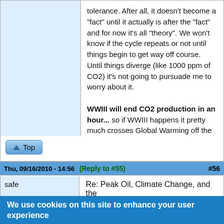tolerance. After all, it doesn't become a "fact" until it actually is after the "fact" and for now it's all "theory". We won't know if the cycle repeats or not until things begin to get way off course. Until things diverge (like 1000 ppm of CO2) it's not going to pursuade me to worry about it. WWIII will end CO2 production in an hour... so if WWIII happens it pretty much crosses Global Warming off the list.
Top
Thu, 09/16/2010 - 14:56 (Reply to #55) #56
safe
Re: Peak Oil, Climate Change, and the
We use cookies on this site to enhance your user experience
By clicking any link on this page you are giving your consent for us to set cookies.
No, give me more info
OK, I agree